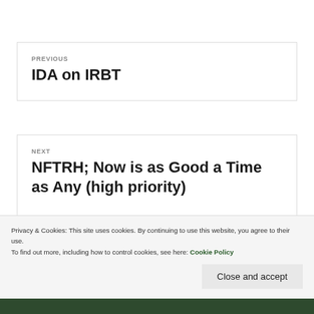PREVIOUS
IDA on IRBT
NEXT
NFTRH; Now is as Good a Time as Any (high priority)
Privacy & Cookies: This site uses cookies. By continuing to use this website, you agree to their use.
To find out more, including how to control cookies, see here: Cookie Policy
Close and accept